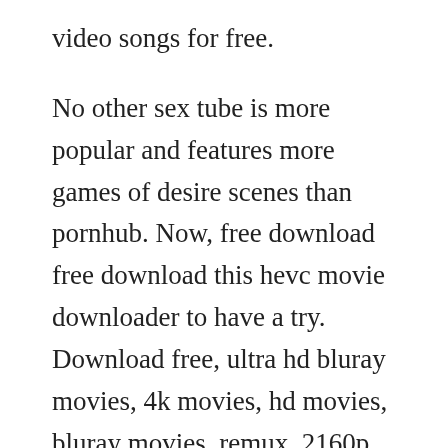video songs for free.
No other sex tube is more popular and features more games of desire scenes than pornhub. Now, free download free download this hevc movie downloader to have a try. Download free, ultra hd bluray movies, 4k movies, hd movies, bluray movies, remux, 2160p, 1080p, 720p, free ultra hd movies, free 4k movies, free bluray movies, download hd movies, highdefinition movies free. Watch graffiante desiderio 1993 movie online free watch graffiante desiderio 1993 movie online